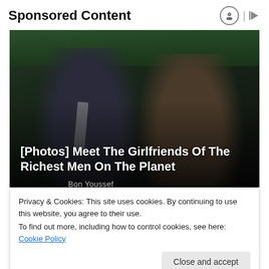Sponsored Content
[Figure (photo): Two people wearing sunglasses sitting in stadium seats — a man in a dark suit with a beard and a woman with long brown hair. Green stadium seats visible in background. Text overlay reads '[Photos] Meet The Girlfriends Of The Richest Men On The Planet' with partial source name cut off below.]
Privacy & Cookies: This site uses cookies. By continuing to use this website, you agree to their use.
To find out more, including how to control cookies, see here: Cookie Policy
Close and accept